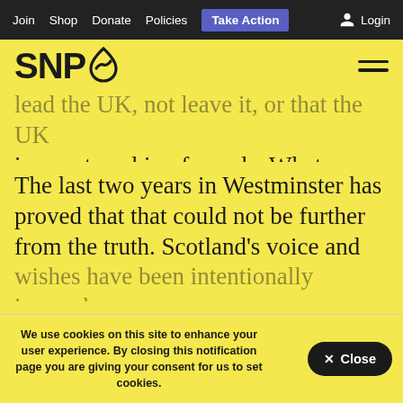Join  Shop  Donate  Policies  Take Action  Login
[Figure (logo): SNP logo with saltire symbol and hamburger menu icon]
lead the UK, not leave it, or that the UK is a partnership of equals. What a brazen falsehood that has proven to be.
The last two years in Westminster has proved that that could not be further from the truth. Scotland’s voice and wishes have been intentionally ignored
We use cookies on this site to enhance your user experience. By closing this notification page you are giving your consent for us to set cookies.